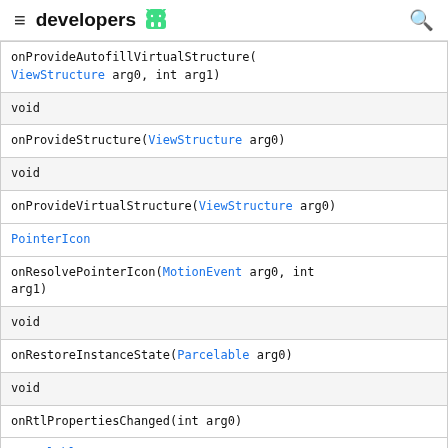developers
| onProvideAutofillVirtualStructure(ViewStructure arg0, int arg1) |
| void |
| onProvideStructure(ViewStructure arg0) |
| void |
| onProvideVirtualStructure(ViewStructure arg0) |
| PointerIcon |
| onResolvePointerIcon(MotionEvent arg0, int arg1) |
| void |
| onRestoreInstanceState(Parcelable arg0) |
| void |
| onRtlPropertiesChanged(int arg0) |
| Parcelable |